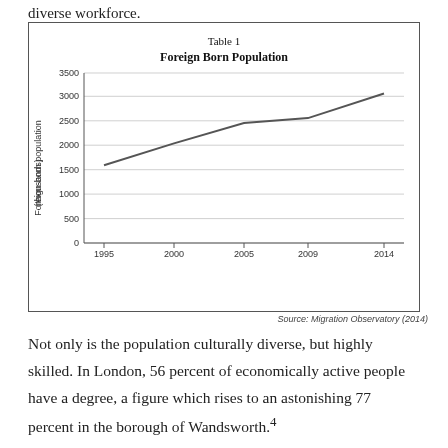diverse workforce.
[Figure (line-chart): Table 1
Foreign Born Population]
Source: Migration Observatory (2014)
Not only is the population culturally diverse, but highly skilled. In London, 56 percent of economically active people have a degree, a figure which rises to an astonishing 77 percent in the borough of Wandsworth.4